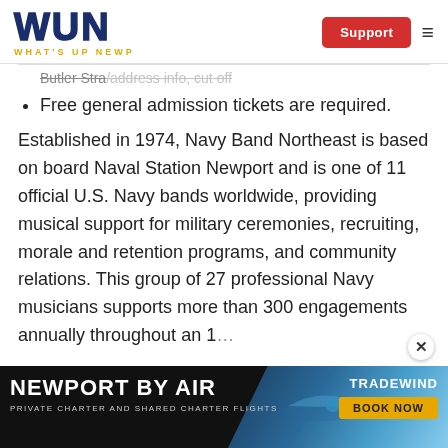WUN — WHAT'S UP NEWP | Support
~~Bullet cut-off text (partially visible at top)~~
Free general admission tickets are required.
Established in 1974, Navy Band Northeast is based on board Naval Station Newport and is one of 11 official U.S. Navy bands worldwide, providing musical support for military ceremonies, recruiting, morale and retention programs, and community relations. This group of 27 professional Navy musicians supports more than 300 engagements annually throughout an 1...
[Figure (screenshot): Newport By Air advertisement banner — Private Charter and Shared Charter Flights — Tradewind — Book Now button]